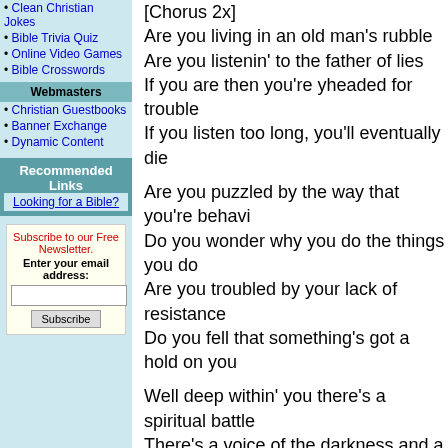Clean Christian Jokes
Bible Trivia Quiz
Online Video Games
Bible Crosswords
Webmasters
Christian Guestbooks
Banner Exchange
Dynamic Content
Recommended Links
Looking for a Bible?
Subscribe to our Free Newsletter. Enter your email address:
[Chorus 2x]
Are you living in an old man's rubble
Are you listenin' to the father of lies
If you are then you're yheaded for trouble
If you listen too long, you'll eventually die

Are you puzzled by the way that you're behavi...
Do you wonder why you do the things you do
Are you troubled by your lack of resistance
Do you fell that something's got a hold on you...

Well deep within' you there's a spiritual battle
There's a voice of the darkness and a voice of light
And just by listening you've made a decision
'cause the voice you hear is gonna' win the fig...

[Chorus]

But if you're living as a new creation
If you're listening to the father of light
Then you're living in a mighty fortress
And you're gonna' be clothed in power and mi...

[Chorus 3x]
BUY ALBUMS FROM THIS ARTIST NOW!